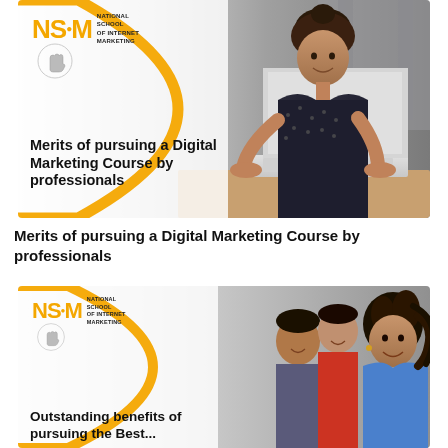[Figure (illustration): NSIM (National School of Internet Marketing) banner with woman working on laptop, orange arc design, logo top-left, text overlay: Merits of pursuing a Digital Marketing Course by professionals]
Merits of pursuing a Digital Marketing Course by professionals
[Figure (illustration): NSIM (National School of Internet Marketing) banner with group of students smiling, orange arc design, logo top-left, text overlay: Outstanding benefits of pursuing the Best...]